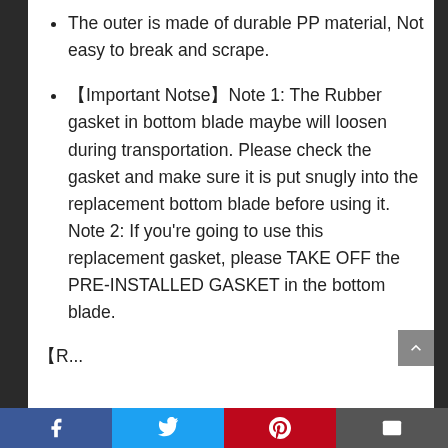The outer is made of durable PP material, Not easy to break and scrape.
【Important Notse】Note 1: The Rubber gasket in bottom blade maybe will loosen during transportation. Please check the gasket and make sure it is put snugly into the replacement bottom blade before using it. Note 2: If you're going to use this replacement gasket, please TAKE OFF the PRE-INSTALLED GASKET in the bottom blade.